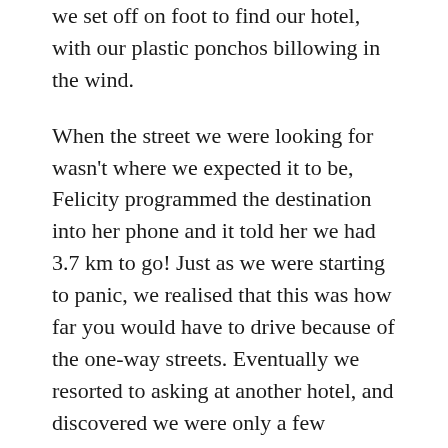we set off on foot to find our hotel, with our plastic ponchos billowing in the wind.
When the street we were looking for wasn't where we expected it to be, Felicity programmed the destination into her phone and it told her we had 3.7 km to go! Just as we were starting to panic, we realised that this was how far you would have to drive because of the one-way streets. Eventually we resorted to asking at another hotel, and discovered we were only a few hundred metres away.
As we neared the hotel, a very large, slightly drunk but very friendly Glaswegian dressed in a T-shirt and jeans took a look at our matching ponchos with bulging packs back and front, and insisted on taking a selfie on his phone. He wasn't satisfied with the result, and recruited another passer-by to take it so he could have his arms around us.